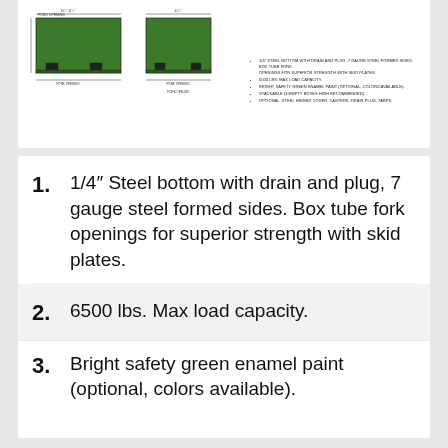[Figure (engineering-diagram): Technical drawing of a steel dumpster/container showing front and side views with dimension annotations, fork tube openings, drain arm details. Green colored rectangular container shown from two angles with dimension lines.]
1. 1/4" Steel bottom with drain and plug, 7 gauge steel formed sides. Box tube fork openings for superior strength with skid plates.
2. 6500 lbs. Max load capacity.
3. Bright safety green enamel paint (optional, colors available).
4. Stackable (3 empty dumpsters recommended).